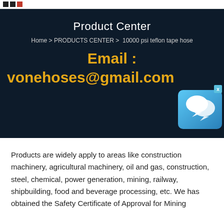Product Center
Home > PRODUCTS CENTER >  10000 psi teflon tape hose
Email : vonehoses@gmail.com
[Figure (illustration): Chat/messaging app icon: blue gradient rounded square with white speech bubble icons]
Products are widely apply to areas like construction machinery, agricultural machinery, oil and gas, construction, steel, chemical, power generation, mining, railway, shipbuilding, food and beverage processing, etc. We has obtained the Safety Certificate of Approval for Mining